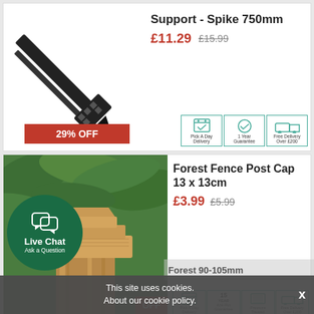Support - Spike 750mm
£11.29  £15.99
29% OFF
Pick A Day Delivery | 1 Year Guarantee | Free Delivery Over £200
Forest Fence Post Cap 13 x 13cm
£3.99  £5.99
OFF
Pick A Day Delivery | 15 YEAR Anti-Rot Guarantee | Pressure Treated | Free Delivery Over £200
Live Chat Ask a Question
This site uses cookies. About our cookie policy.
Forest 90-105mm